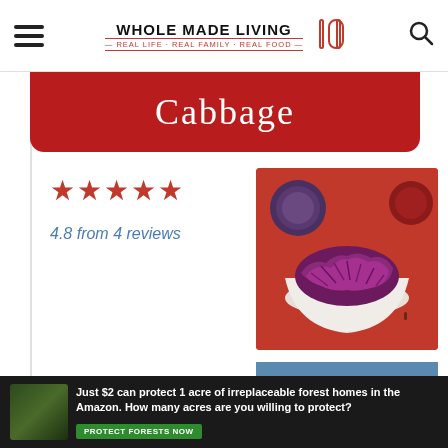WHOLE MADE LIVING — REAL LIFE · REAL FAMILY · REAL FOOD
Cabbage
★★★★★
4.8 from 4 reviews
[Figure (photo): Bowl of shredded red/purple cabbage with whole cabbages and red vegetables in background]
PRINT RECIPE
PIN RECIPE
Just $2 can protect 1 acre of irreplaceable forest homes in the Amazon. How many acres are you willing to protect?